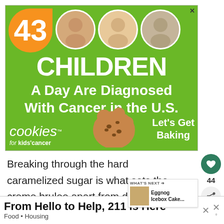[Figure (infographic): Ad banner: green background showing '43 CHILDREN A Day Are Diagnosed With Cancer in the U.S.' with 3 children photos in circles, orange circle with number 43, and Cookies for Kids' Cancer branding with 'Let's Get Baking' text]
Breaking through the hard caramelized sugar is what sets the creme brulee apart from dessert. And the creamy cool custard isn't
[Figure (infographic): What's Next widget showing an image thumbnail and text 'Eggnog Icebox Cake...']
[Figure (infographic): Bottom ad banner: 'From Hello to Help, 211 is Here' with 'Food • Housing' subtitle]